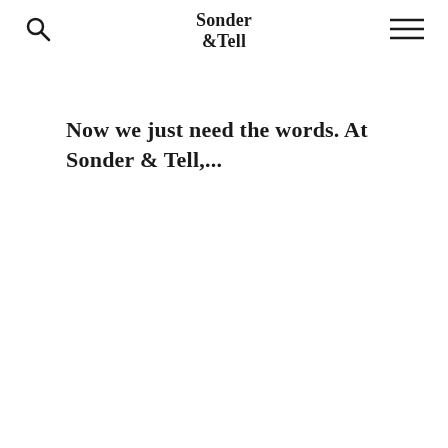Sonder & Tell
Now we just need the words. At Sonder & Tell,...